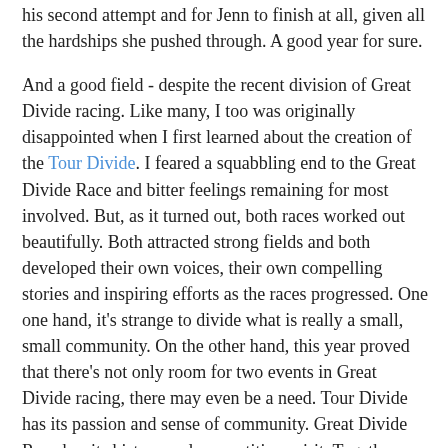his second attempt and for Jenn to finish at all, given all the hardships she pushed through. A good year for sure.
And a good field - despite the recent division of Great Divide racing. Like many, I too was originally disappointed when I first learned about the creation of the Tour Divide. I feared a squabbling end to the Great Divide Race and bitter feelings remaining for most involved. But, as it turned out, both races worked out beautifully. Both attracted strong fields and both developed their own voices, their own compelling stories and inspiring efforts as the races progressed. One one hand, it's strange to divide what is really a small, small community. On the other hand, this year proved that there's not only room for two events in Great Divide racing, there may even be a need. Tour Divide has its passion and sense of community. Great Divide Race has its history and competitive spirit. Together, they coaxed more people to race this crazy route than ever before. I like to think of it as similar to the American League and the National League in baseball - separate but equal.
That said, my heart is with the Great Divide Race, and I